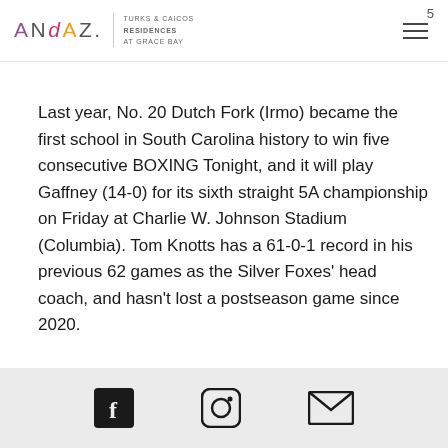ANDAZ. TURKS & CAICOS RESIDENCES AT GRACE BAY
Last year, No. 20 Dutch Fork (Irmo) became the first school in South Carolina history to win five consecutive BOXING Tonight, and it will play Gaffney (14-0) for its sixth straight 5A championship on Friday at Charlie W. Johnson Stadium (Columbia). Tom Knotts has a 61-0-1 record in his previous 62 games as the Silver Foxes' head coach, and hasn't lost a postseason game since 2020.
[Figure (other): Website footer with social media icons: Facebook, Instagram, and Email/Mail icons on a light gray background]